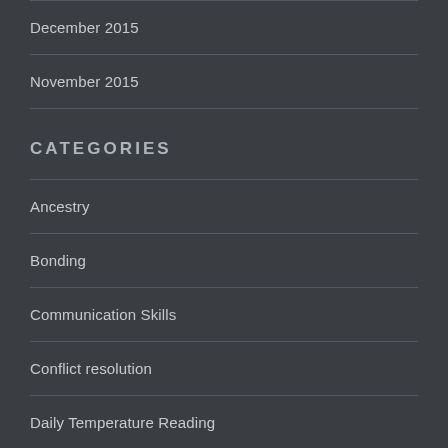December 2015
November 2015
CATEGORIES
Ancestry
Bonding
Communication Skills
Conflict resolution
Daily Temperature Reading
Emotional Connection